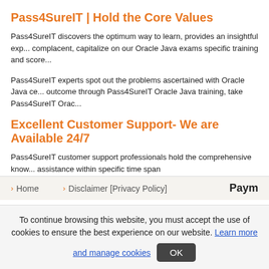Pass4SureIT | Hold the Core Values
Pass4SureIT discovers the optimum way to learn, provides an insightful exp... complacent, capitalize on our Oracle Java exams specific training and score...
Pass4SureIT experts spot out the problems ascertained with Oracle Java ce... outcome through Pass4SureIT Oracle Java training, take Pass4SureIT Orac...
Excellent Customer Support- We are Available 24/7
Pass4SureIT customer support professionals hold the comprehensive know... assistance within specific time span
Home   Disclaimer [Privacy Policy]   Paym...
To continue browsing this website, you must accept the use of cookies to ensure the best experience on our website. Learn more and manage cookies  OK